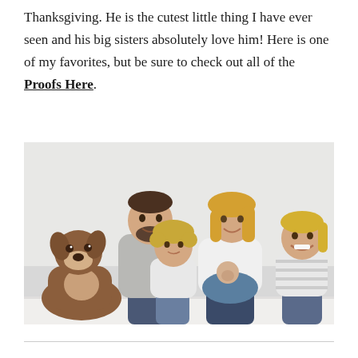Thanksgiving. He is the cutest little thing I have ever seen and his big sisters absolutely love him! Here is one of my favorites, but be sure to check out all of the Proofs Here.
[Figure (photo): A family portrait on a light grey background. A man with a beard wearing a grey sweater sits with a young curly-haired toddler girl in a white long-sleeve top on his lap. A woman with blonde hair wearing a white top holds a newborn baby wrapped in a blue swaddle. A smiling older girl with blonde hair in a striped shirt sits to the right. A brown and white boxer dog sits on the far left.]